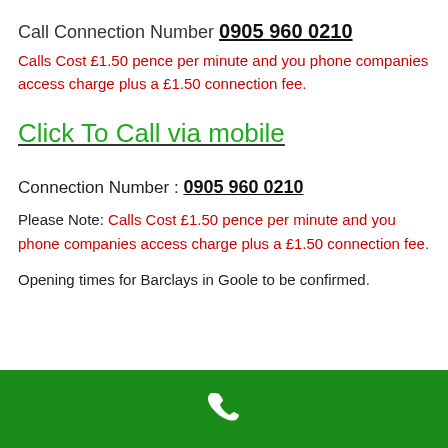Call Connection Number 0905 960 0210
Calls Cost £1.50 pence per minute and you phone companies access charge plus a £1.50 connection fee.
Click To Call via mobile
Connection Number : 0905 960 0210
Please Note: Calls Cost £1.50 pence per minute and you phone companies access charge plus a £1.50 connection fee.
Opening times for Barclays in Goole to be confirmed.
[Figure (other): Green bar at bottom with white phone handset icon]